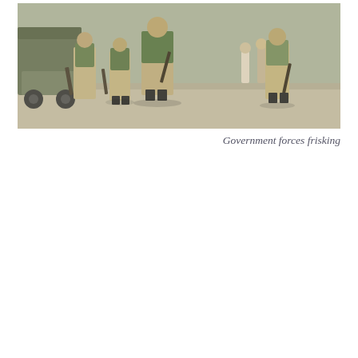[Figure (photo): Photograph of government/military forces (soldiers in camouflage and khaki uniforms carrying weapons) conducting a frisking/security check operation on a street, with a military vehicle visible on the left and civilians in the background.]
Government forces frisking